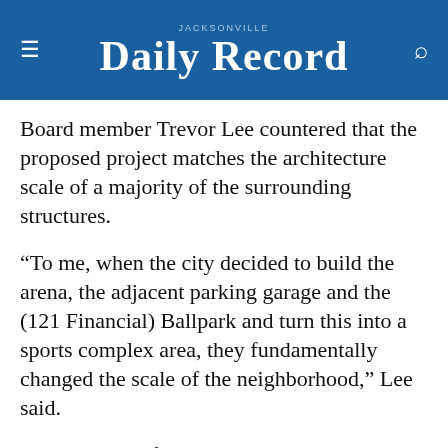JACKSONVILLE Daily Record
Board member Trevor Lee countered that the proposed project matches the architecture scale of a majority of the surrounding structures.
“To me, when the city decided to build the arena, the adjacent parking garage and the (121 Financial) Ballpark and turn this into a sports complex area, they fundamentally changed the scale of the neighborhood,” Lee said.
The majority of the board praised the project for considering pedestrian engagement around the building and the developer’s work to conform to